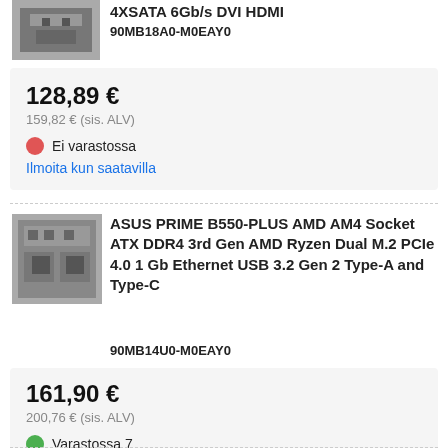4XSATA 6Gb/s DVI HDMI
90MB18A0-M0EAY0
128,89 €
159,82 € (sis. ALV)
Ei varastossa
Ilmoita kun saatavilla
ASUS PRIME B550-PLUS AMD AM4 Socket ATX DDR4 3rd Gen AMD Ryzen Dual M.2 PCIe 4.0 1 Gb Ethernet USB 3.2 Gen 2 Type-A and Type-C
90MB14U0-M0EAY0
161,90 €
200,76 € (sis. ALV)
Varastossa 7
ASUS PRIME B550M-A...